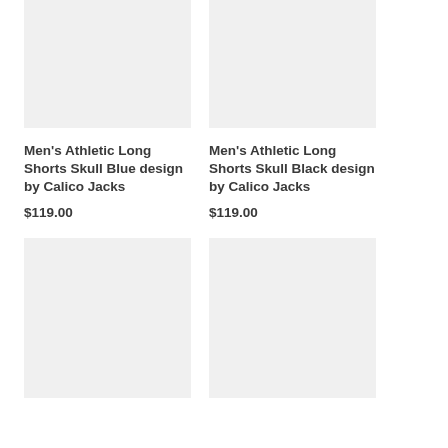[Figure (photo): Product image placeholder for Men's Athletic Long Shorts Skull Blue design - light gray rectangle]
[Figure (photo): Product image placeholder for Men's Athletic Long Shorts Skull Black design - light gray rectangle]
Men's Athletic Long Shorts Skull Blue design by Calico Jacks
$119.00
Men's Athletic Long Shorts Skull Black design by Calico Jacks
$119.00
[Figure (photo): Product image placeholder - light gray rectangle, bottom left]
[Figure (photo): Product image placeholder - light gray rectangle, bottom right]